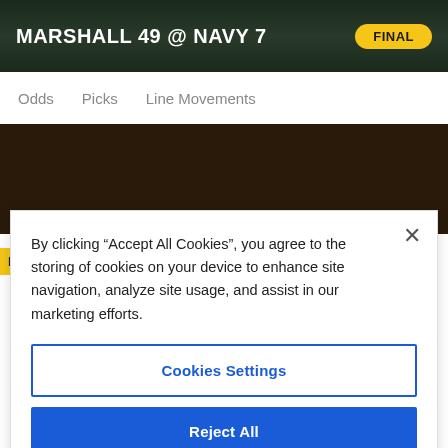MARSHALL 49 @ NAVY 7 FINAL
Odds
Picks
Line Movements
[Figure (screenshot): Dark promo banner with PICKS tab label and social media icons (Facebook, Twitter, YouTube, TikTok, Instagram) on dark brown background]
By clicking “Accept All Cookies”, you agree to the storing of cookies on your device to enhance site navigation, analyze site usage, and assist in our marketing efforts.
Cookies Settings
Reject All
Accept All Cookies